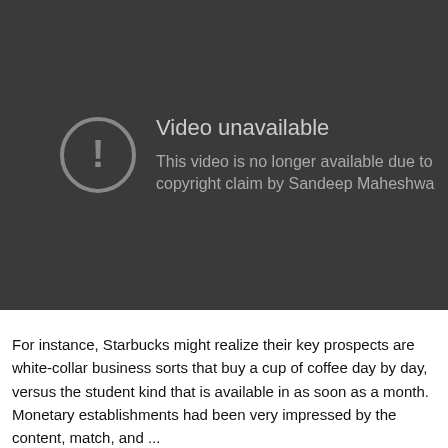[Figure (screenshot): YouTube-style video unavailable screen with dark background, circular exclamation icon, title 'Video unavailable' and message 'This video is no longer available due to copyright claim by Sandeep Maheshwa']
For instance, Starbucks might realize their key prospects are white-collar business sorts that buy a cup of coffee day by day, versus the student kind that is available in as soon as a month. Monetary establishments had been very impressed by the content, match, and ...